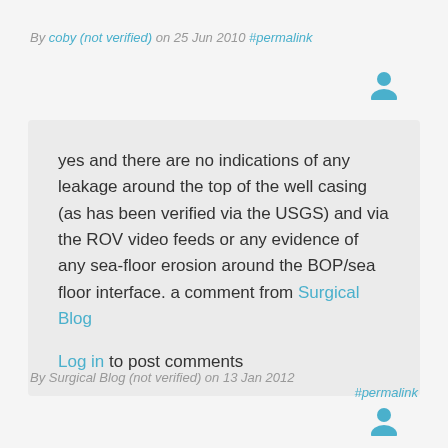By coby (not verified) on 25 Jun 2010 #permalink
yes and there are no indications of any leakage around the top of the well casing (as has been verified via the USGS) and via the ROV video feeds or any evidence of any sea-floor erosion around the BOP/sea floor interface. a comment from Surgical Blog
Log in to post comments
By Surgical Blog (not verified) on 13 Jan 2012 #permalink